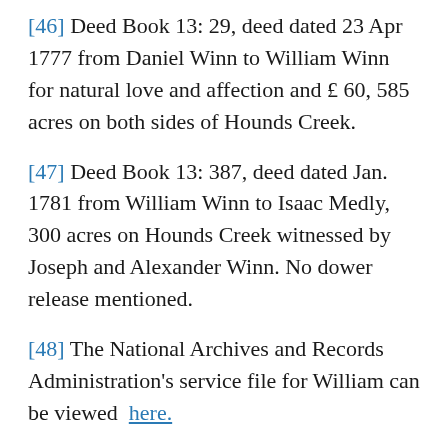[46] Deed Book 13: 29, deed dated 23 Apr 1777 from Daniel Winn to William Winn for natural love and affection and £ 60, 585 acres on both sides of Hounds Creek.
[47] Deed Book 13: 387, deed dated Jan. 1781 from William Winn to Isaac Medly, 300 acres on Hounds Creek witnessed by Joseph and Alexander Winn. No dower release mentioned.
[48] The National Archives and Records Administration's service file for William can be viewed here.
[49] Orsamus Winn was listed as one of Daniel Winn's tithables in the 1772 Lunenburg tax list but was not shown on the 1769 list. He thus